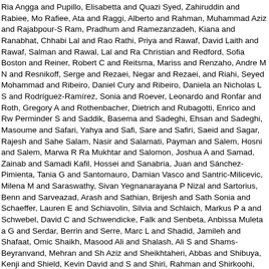Ria Angga and Pupillo, Elisabetta and Quazi Syed, Zahiruddin and Rabiee, Mo Rafiee, Ata and Raggi, Alberto and Rahman, Muhammad Aziz and Rajabpour-S Ram, Pradhum and Ramezanzadeh, Kiana and Ranabhat, Chhabi Lal and Rao Rathi, Priya and Rawaf, David Laith and Rawaf, Salman and Rawal, Lal and Ra Christian and Redford, Sofia Boston and Reiner, Robert C and Reitsma, Mariss and Renzaho, Andre M N and Resnikoff, Serge and Rezaei, Negar and Rezaei, and Riahi, Seyed Mohammad and Ribeiro, Daniel Cury and Ribeiro, Daniela an Nicholas L S and Rodríguez-Ramírez, Sonia and Roever, Leonardo and Ronfar and Roth, Gregory A and Rothenbacher, Dietrich and Rubagotti, Enrico and Rw Perminder S and Saddik, Basema and Sadeghi, Ehsan and Sadeghi, Masoume and Safari, Yahya and Safi, Sare and Safiri, Saeid and Sagar, Rajesh and Sahe Salam, Nasir and Salamati, Payman and Salem, Hosni and Salem, Marwa R Ra Mukhtar and Salomon, Joshua A and Samad, Zainab and Samadi Kafil, Hossei and Sanabria, Juan and Sánchez-Pimienta, Tania G and Santomauro, Damian Vasco and Santric-Milicevic, Milena M and Saraswathy, Sivan Yegnanarayana P Nizal and Sartorius, Benn and Sarveazad, Arash and Sathian, Brijesh and Sath Sonia and Schaeffer, Lauren E and Schiavolin, Silvia and Schlaich, Markus P a and Schwebel, David C and Schwendicke, Falk and Senbeta, Anbissa Muleta a G and Serdar, Berrin and Serre, Marc L and Shadid, Jamileh and Shafaat, Omic Shaikh, Masood Ali and Shalash, Ali S and Shams-Beyranvand, Mehran and Sh Aziz and Sheikhtaheri, Abbas and Shibuya, Kenji and Shield, Kevin David and S and Shiri, Rahman and Shirkoohi, Reza and Shuval, Kerem and Siabani, Soray and Sigurvinsdottir, Rannveig and Silva, João Pedro and Simpson, Kyle E and S Skiadaresi, Eirini and Skou, Søren T Skou and Skryabin, Valentin Yurievich and Shahin and Soofi, Moslem and Sorensen, Reed J D and Soriano, Joan B and S Soyiri, Ireneous N and Spencer, Cory N and Spotin, Adel and Sreeramareddy, C Jeffrey D and Stein, Caroline and Stein, Dan J and Steiner, Caitlyn and Stockfe Jacob L and Sufiyan, Mu'awiyyah Babale and Suleria, Hafiz Ansar Rasul and Su Sultan, Iyad and Szumowski, Łukasz and Tabarés-Seisdedos, Rafael and Tabb and Tajdini, Masih and Takahashi, Ken and Takala, Jukka S and Tamiru, Aiim